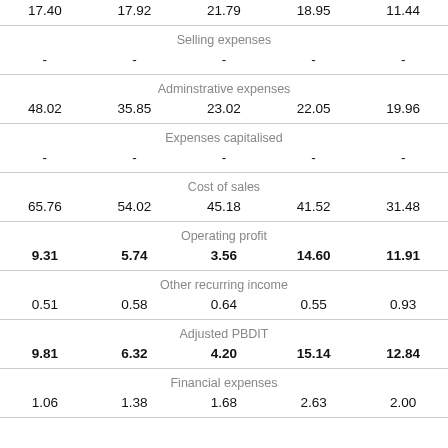| Col1 | Col2 | Col3 | Col4 | Col5 |
| --- | --- | --- | --- | --- |
| 17.40 | 17.92 | 21.79 | 18.95 | 11.44 |
| Selling expenses |  |  |  |  |
| - | - | - | - | - |
| Adminstrative expenses |  |  |  |  |
| 48.02 | 35.85 | 23.02 | 22.05 | 19.96 |
| Expenses capitalised |  |  |  |  |
| - | - | - | - | - |
| Cost of sales |  |  |  |  |
| 65.76 | 54.02 | 45.18 | 41.52 | 31.48 |
| Operating profit |  |  |  |  |
| 9.31 | 5.74 | 3.56 | 14.60 | 11.91 |
| Other recurring income |  |  |  |  |
| 0.51 | 0.58 | 0.64 | 0.55 | 0.93 |
| Adjusted PBDIT |  |  |  |  |
| 9.81 | 6.32 | 4.20 | 15.14 | 12.84 |
| Financial expenses |  |  |  |  |
| 1.06 | 1.38 | 1.68 | 2.63 | 2.00 |